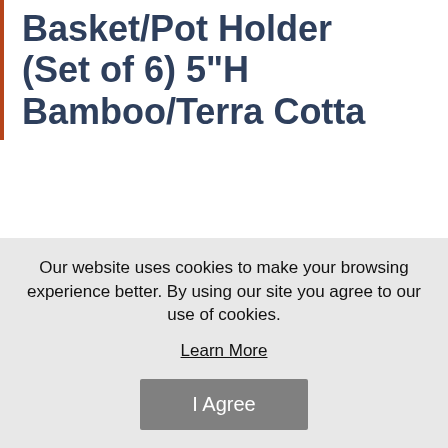Basket/Pot Holder (Set of 6) 5"H Bamboo/Terra Cotta
[Figure (photo): Two bamboo handles/holders photographed against a white background, shown side by side]
Our website uses cookies to make your browsing experience better. By using our site you agree to our use of cookies.
Learn More
I Agree